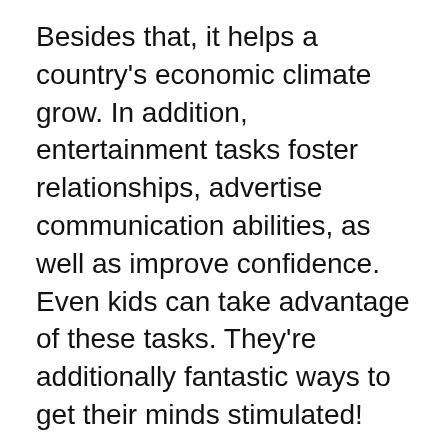Besides that, it helps a country's economic climate grow. In addition, entertainment tasks foster relationships, advertise communication abilities, as well as improve confidence. Even kids can take advantage of these tasks. They're additionally fantastic ways to get their minds stimulated!
Home entertainment might take several types. It can be personal or public, involving formal or spontaneous performances. Historically, amusement has taken on an extra public nature, and can take different forms. It may be an official scripted performance, an informal improvisation, or something automatically developed. The majority of forms of home entertainment have actually been around for centuries and